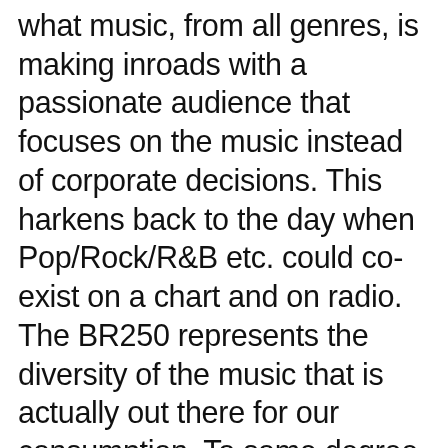what music, from all genres, is making inroads with a passionate audience that focuses on the music instead of corporate decisions. This harkens back to the day when Pop/Rock/R&B etc. could co-exist on a chart and on radio. The BR250 represents the diversity of the music that is actually out there for our consumption. To some degree it equalizes the many facets of the industry but that is only determined by the diversity of the personal chart community. And to be clear, the BR250 strives to be a representative sample of this universe. I don't have the capacity to process all available personal charts which is why it is great to have other forums that process charts as a subset